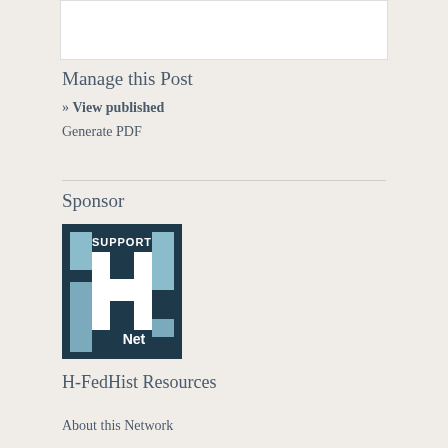Manage this Post
» View published
Generate PDF
Sponsor
[Figure (logo): H-Net Support H-Net logo with dark teal background and light blue rectangular columns forming the letter H, with 'SUPPORT' text and 'H-Net' text in white]
H-FedHist Resources
About this Network